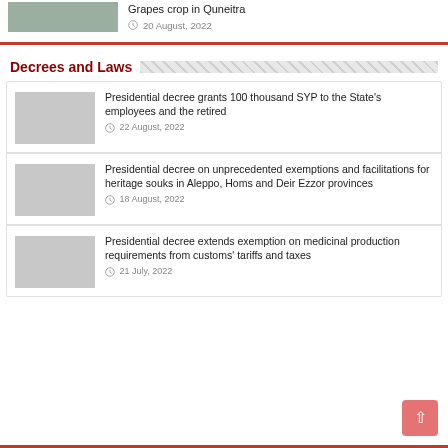[Figure (photo): Small thumbnail image, appears to show a landscape or crop scene]
Grapes crop in Quneitra
20 August, 2022
Decrees and Laws
Presidential decree grants 100 thousand SYP to the State's employees and the retired
22 August, 2022
Presidential decree on unprecedented exemptions and facilitations for heritage souks in Aleppo, Homs and Deir Ezzor provinces
18 August, 2022
Presidential decree extends exemption on medicinal production requirements from customs' tariffs and taxes
21 July, 2022